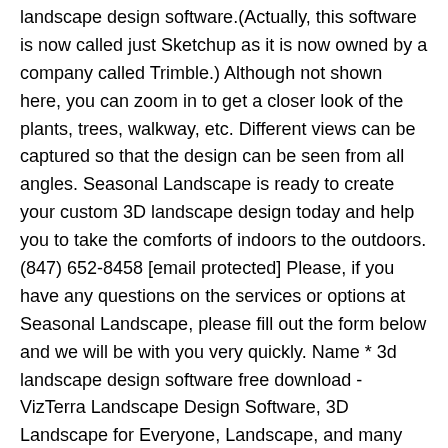landscape design software.(Actually, this software is now called just Sketchup as it is now owned by a company called Trimble.) Although not shown here, you can zoom in to get a closer look of the plants, trees, walkway, etc. Different views can be captured so that the design can be seen from all angles. Seasonal Landscape is ready to create your custom 3D landscape design today and help you to take the comforts of indoors to the outdoors. (847) 652-8458 [email protected] Please, if you have any questions on the services or options at Seasonal Landscape, please fill out the form below and we will be with you very quickly. Name * 3d landscape design software free download - VizTerra Landscape Design Software, 3D Landscape for Everyone, Landscape, and many more programs 3D Landscape